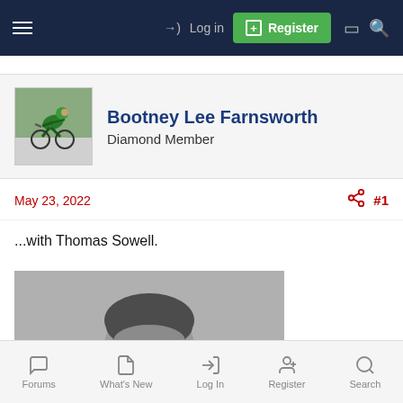Log in  Register
Bootney Lee Farnsworth
Diamond Member
May 23, 2022  #1
...with Thomas Sowell.
[Figure (photo): Black and white portrait photo of Thomas Sowell, showing his head and upper shoulders, wearing glasses]
Forums  What's New  Log In  Register  Search